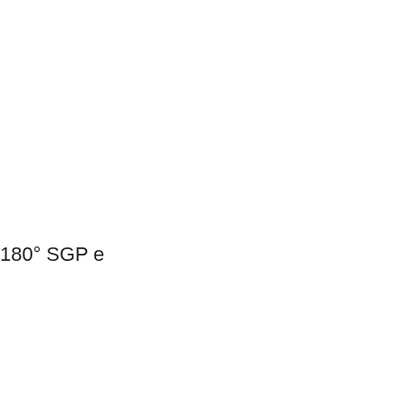|  |  |  |  |
| --- | --- | --- | --- |
| 850 | 34 | 863.6 | 1295.4 |
| 900 | 36 | 914.4 | 1371.6 |
| 950 | 38 | 965.2 | 1447.8 |
| 1000 | 40 | 1016 | 1524 |
| 1050 | 42 | 1066.8 | 1600.2 |
| 1100 | 44 | 1117.6 | 1676.4 |
| 1150 | 46 | 1168.4 | 1752.6 |
| 1200 | 48 | 1219.2 | 1828.8 |
180° SGP e
| Nominal (NPS) A | B | OD D | C to 180°
Long |
| --- | --- | --- | --- |
| 15 | ½ | 21.7 | 76.2 |
| 20 | ¾ | 27.2 | 76.2 |
| 25 | 1 | 34 | 76.2 |
| 32 | 1¼ | 42.7 | 95.2 |